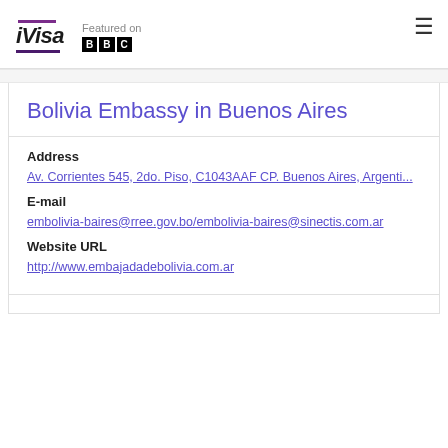iVisa — Featured on BBC
Bolivia Embassy in Buenos Aires
Address
Av. Corrientes 545, 2do. Piso, C1043AAF CP. Buenos Aires, Argentina
E-mail
embolivia-baires@rree.gov.bo/embolivia-baires@sinectis.com.ar
Website URL
http://www.embajadadebolivia.com.ar